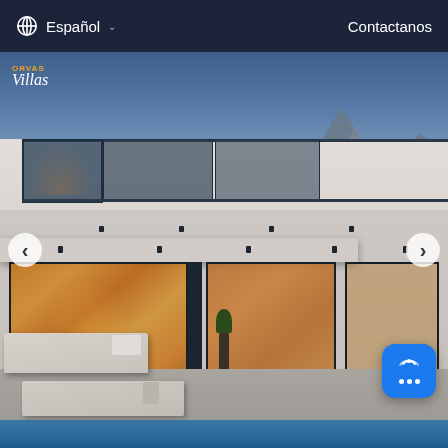Español   Contactanos
[Figure (photo): Exterior of a modern luxury villa at dusk with illuminated interior, large glass sliding doors on two floors, a terrace with sun loungers, and a pool edge in the foreground. Mountains visible in the background under a blue sky. ORVAS Villas logo is in the upper left of the image.]
‹
›